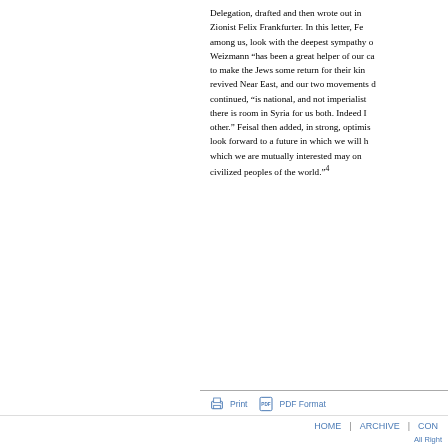Delegation, drafted and then wrote out in full to Zionist Felix Frankfurter. In this letter, Fe[isal said Arabs] among us, look with the deepest sympathy o[n the Zionist movement.] Weizmann "has been a great helper of our ca[use"] and wished to make the Jews some return for their kin[dness in the] revived Near East, and our two movements d[o] continued, “is national, and not imperialist[ic...”] there is room in Syria for us both. Indeed [each needs the] other.” Feisal then added, in strong, optimis[tic terms:] look forward to a future in which we will h[elp,] which we are mutually interested may on[e day benefit] civilized peoples of the world.”⁴
[Figure (other): Print and PDF Format toolbar with printer icon and PDF icon]
HOME | ARCHIVE | CON[TACT] All Right[s Reserved]